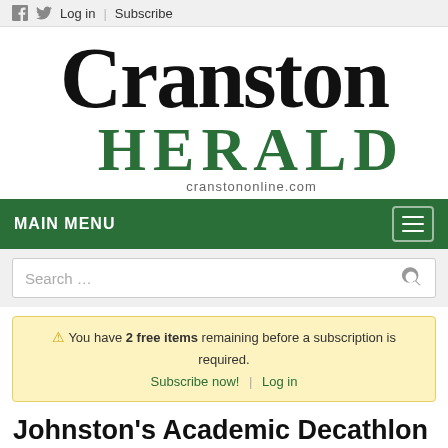Log in  Subscribe
[Figure (logo): Cranston Herald newspaper logo with 'Cranston' in large black serif font, 'HERALD' in large green serif font, and 'cranstononline.com' subtitle]
MAIN MENU
Search ...
⚠ You have 2 free items remaining before a subscription is required. Subscribe now! | Log in
Johnston's Academic Decathlon team competes in national